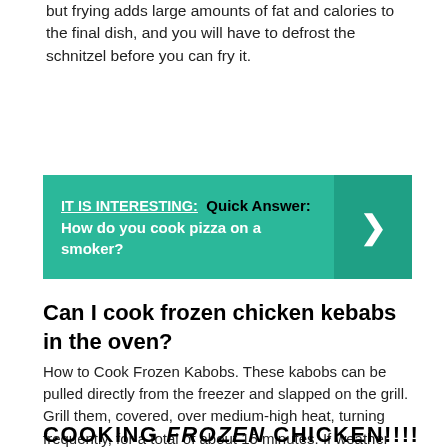but frying adds large amounts of fat and calories to the final dish, and you will have to defrost the schnitzel before you can fry it.
[Figure (infographic): Teal banner with text: IT IS INTERESTING: Quick Answer: How do you cook pizza on a smoker? with a right-arrow chevron on the darker teal right panel.]
Can I cook frozen chicken kebabs in the oven?
How to Cook Frozen Kabobs. These kabobs can be pulled directly from the freezer and slapped on the grill. Grill them, covered, over medium-high heat, turning frequently, for a total of about 15 minutes. If weather spoils your big grilling plans, roast the kabobs on a baking sheet in a 400°F oven for 15 to 18 minutes.
COOKING FROZEN CHICKEN!!!!